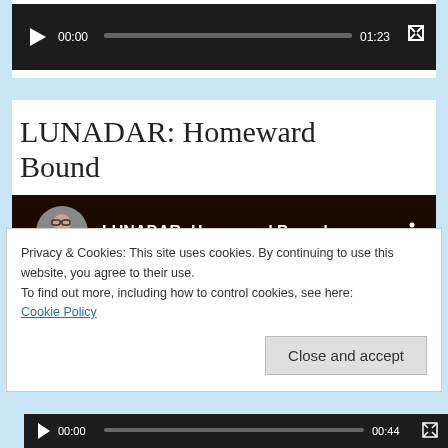[Figure (screenshot): Video player showing 00:00 / 01:23 with play button and progress bar, dark background]
LUNADAR: Homeward Bound
[Figure (screenshot): YouTube video thumbnail showing avatar, title 'LUNADAR: Homeward Bound', and three-dot menu]
Privacy & Cookies: This site uses cookies. By continuing to use this website, you agree to their use.
To find out more, including how to control cookies, see here:
Cookie Policy
[Figure (screenshot): Video player bottom bar showing 00:00 / 00:44 with play button, progress bar, and fullscreen icon]